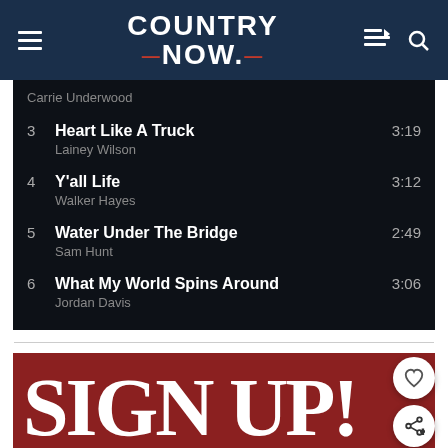COUNTRY NOW
Carrie Underwood
3  Heart Like A Truck  3:19  Lainey Wilson
4  Y'all Life  3:12  Walker Hayes
5  Water Under The Bridge  2:49  Sam Hunt
6  What My World Spins Around  3:06  Jordan Davis
[Figure (other): SIGN UP! promotional banner with dark red background and white bold serif text]
[Figure (other): Floating action buttons: heart/favorite and share icons]